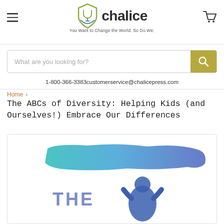Chalice Press — You Want to Change the World. So Do We.
What are you looking for?
1-800-366-3383customerservice@chalicepress.com
Home > The ABCs of Diversity: Helping Kids (and Ourselves!) Embrace Our Differences
The ABCs of Diversity: Helping Kids (and Ourselves!) Embrace Our Differences
[Figure (photo): Book cover for 'The ABCs of Diversity' showing a colorful brushstroke banner in teal-to-blue gradient and large text 'THE' with illustrated figures below]